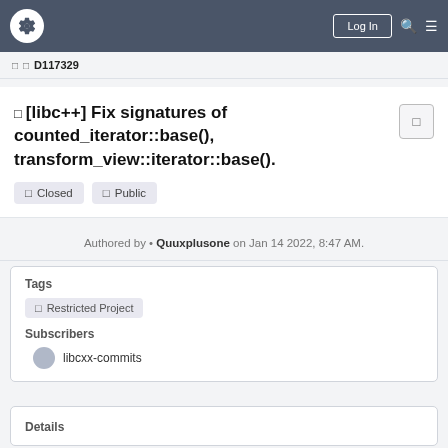Log In
□ □ D117329
□ [libc++] Fix signatures of counted_iterator::base(), transform_view::iterator::base().
□ Closed   □ Public
Authored by • Quuxplusone on Jan 14 2022, 8:47 AM.
Tags
□ Restricted Project
Subscribers
libcxx-commits
Details